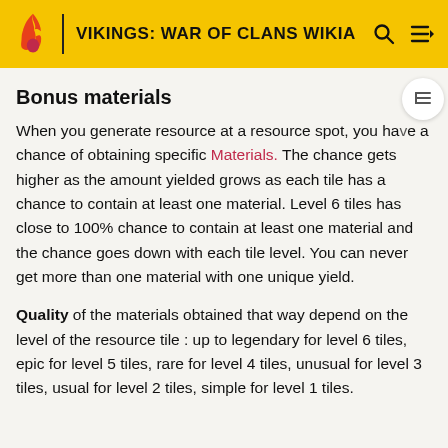VIKINGS: WAR OF CLANS WIKIA
Bonus materials
When you generate resource at a resource spot, you have a chance of obtaining specific Materials. The chance gets higher as the amount yielded grows as each tile has a chance to contain at least one material. Level 6 tiles has close to 100% chance to contain at least one material and the chance goes down with each tile level. You can never get more than one material with one unique yield.
Quality of the materials obtained that way depend on the level of the resource tile : up to legendary for level 6 tiles, epic for level 5 tiles, rare for level 4 tiles, unusual for level 3 tiles, usual for level 2 tiles, simple for level 1 tiles.